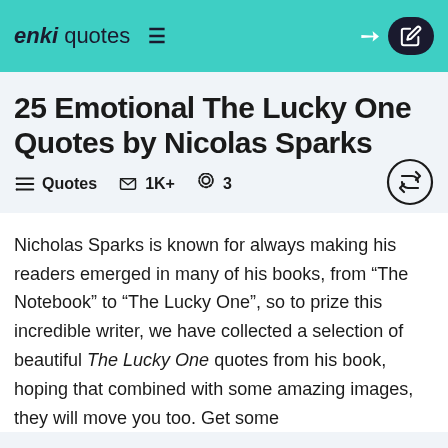enki quotes
25 Emotional The Lucky One Quotes by Nicolas Sparks
Quotes  1K+  3
Nicholas Sparks is known for always making his readers emerged in many of his books, from “The Notebook” to “The Lucky One”, so to prize this incredible writer, we have collected a selection of beautiful The Lucky One quotes from his book, hoping that combined with some amazing images, they will move you too. Get some